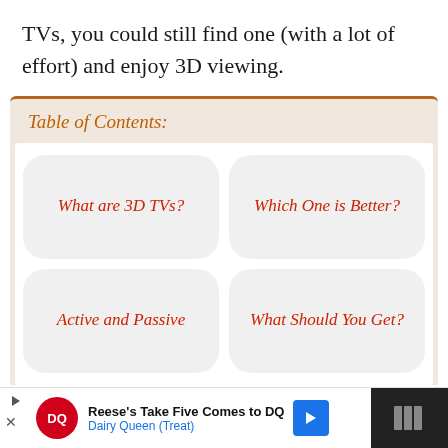TVs, you could still find one (with a lot of effort) and enjoy 3D viewing.
Table of Contents:
What are 3D TVs?
Active and Passive
Which One is Better?
What Should You Get?
Reese's Take Five Comes to DQ | Dairy Queen (Treat)